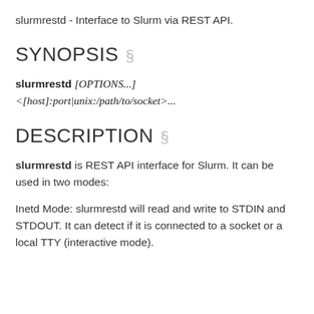slurmrestd - Interface to Slurm via REST API.
SYNOPSIS §
slurmrestd [OPTIONS...]
<[host]:port|unix:/path/to/socket>...
DESCRIPTION §
slurmrestd is REST API interface for Slurm. It can be used in two modes:
Inetd Mode: slurmrestd will read and write to STDIN and STDOUT. It can detect if it is connected to a socket or a local TTY (interactive mode).